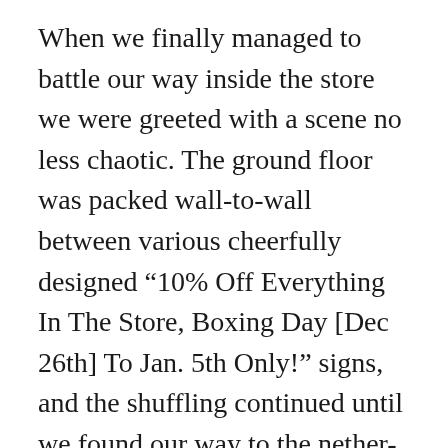When we finally managed to battle our way inside the store we were greeted with a scene no less chaotic. The ground floor was packed wall-to-wall between various cheerfully designed “10% Off Everything In The Store, Boxing Day [Dec 26th] To Jan. 5th Only!” signs, and the shuffling continued until we found our way to the nether-regions of the upper floors, to breath deeply and combat our rural fears of large, condensed gatherings of people.
We had been blessed with no